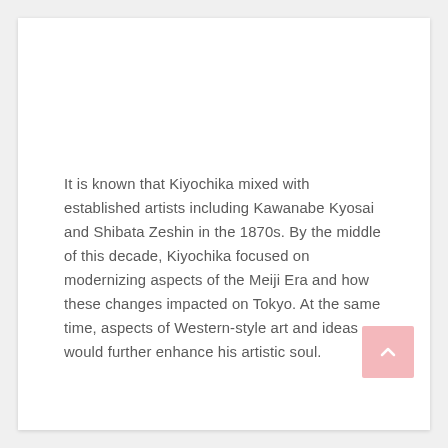It is known that Kiyochika mixed with established artists including Kawanabe Kyosai and Shibata Zeshin in the 1870s. By the middle of this decade, Kiyochika focused on modernizing aspects of the Meiji Era and how these changes impacted on Tokyo. At the same time, aspects of Western-style art and ideas would further enhance his artistic soul.